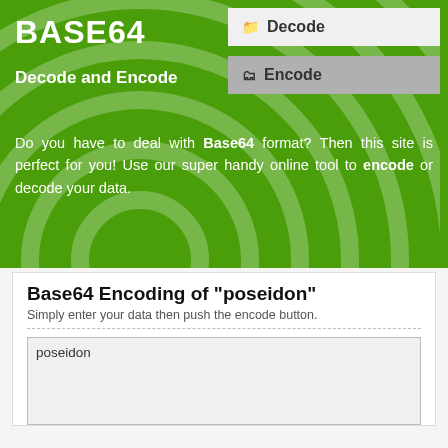BASE64
Decode and Encode
[Figure (screenshot): Decode navigation button (white background)]
[Figure (screenshot): Encode navigation button (gray background, selected)]
Do you have to deal with Base64 format? Then this site is perfect for you! Use our super handy online tool to encode or decode your data.
Base64 Encoding of "poseidon"
Simply enter your data then push the encode button.
poseidon